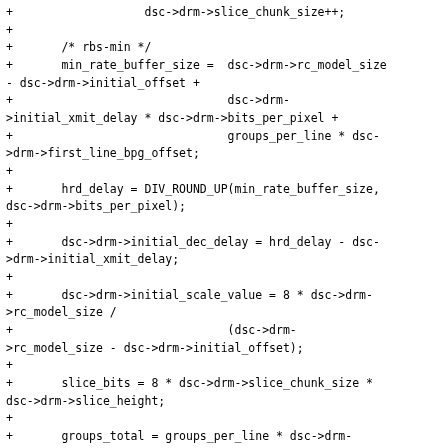+                   dsc->drm->slice_chunk_size++;
+
+       /* rbs-min */
+       min_rate_buffer_size =  dsc->drm->rc_model_size
- dsc->drm->initial_offset +
+                               dsc->drm-
>initial_xmit_delay * dsc->drm->bits_per_pixel +
+                               groups_per_line * dsc-
>drm->first_line_bpg_offset;
+
+       hrd_delay = DIV_ROUND_UP(min_rate_buffer_size,
dsc->drm->bits_per_pixel);
+
+       dsc->drm->initial_dec_delay = hrd_delay - dsc-
>drm->initial_xmit_delay;
+
+       dsc->drm->initial_scale_value = 8 * dsc->drm-
>rc_model_size /
+                               (dsc->drm-
>rc_model_size - dsc->drm->initial_offset);
+
+       slice_bits = 8 * dsc->drm->slice_chunk_size *
dsc->drm->slice_height;
+
+       groups_total = groups_per_line * dsc->drm-
>slice_height;
+
+       data = dsc->drm->first_line_bpg_offset * 2048;
+
+       dsc->drm->nfl_bpg_offset = DIV_ROUND_UP(data,
(dsc->drm->slice_height - 1));